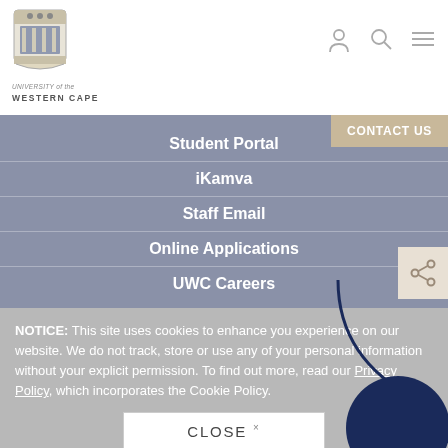[Figure (logo): University of the Western Cape shield logo]
UNIVERSITY of the
WESTERN CAPE
[Figure (other): Header icons: user/account, search, hamburger menu]
CONTACT US
Student Portal
iKamva
Staff Email
Online Applications
UWC Careers
[Figure (other): Share icon button]
NOTICE: This site uses cookies to enhance you experience on our website. We do not track, store or use any of your personal information without your explicit permission. To find out more, read our Privacy Policy, which incorporates the Cookie Policy.
CLOSE ×